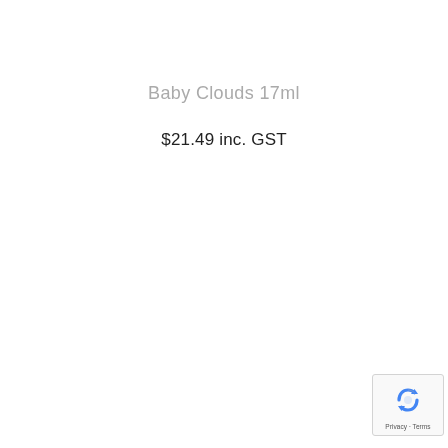Baby Clouds 17ml
$21.49 inc. GST
[Figure (logo): Google reCAPTCHA badge with recycling-arrow logo icon and Privacy - Terms links]